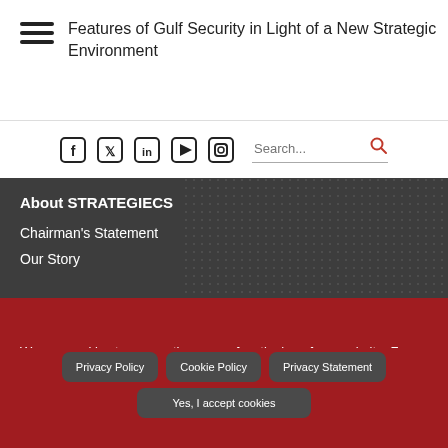Features of Gulf Security in Light of a New Strategic Environment
[Figure (screenshot): Social media icons: Facebook, Twitter, LinkedIn, YouTube, Instagram]
About STRATEGIECS
Chairman's Statement
Our Story
We use cookies to ensure the proper functioning of our website. For an improved visit experience we use analysis products. These are used when you agree with "Statistics".
Privacy Policy
Cookie Policy
Privacy Statement
Yes, I accept cookies